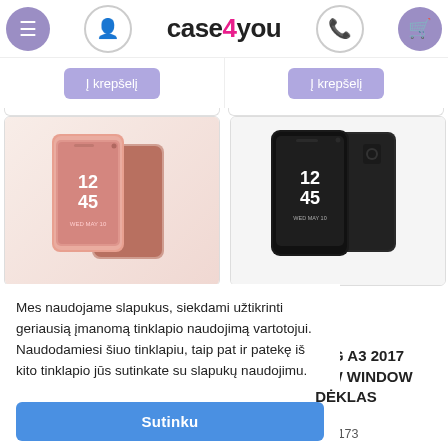case4you - navigation header with menu, user, phone, cart icons
[Figure (screenshot): Two product card tops with purple 'Į krepšelį' buttons visible at top, partially cropped]
[Figure (photo): Pink/rose gold Samsung phone case (Clear View Window type) showing 12:45 on transparent front cover]
[Figure (photo): Black Samsung A3 2017 Clear View Window phone case showing 12:45 on transparent front cover]
Mes naudojame slapukus, siekdami užtikrinti geriausią įmanomą tinklapio naudojimą vartotojui. Naudodamiesi šiuo tinklapiu, taip pat ir patekę iš kito tinklapio jūs sutinkate su slapukų naudojimu.
Sutinku
MSUNG A3 2017 AS VIEW WINDOW DĖKLAS
das: 200000036173